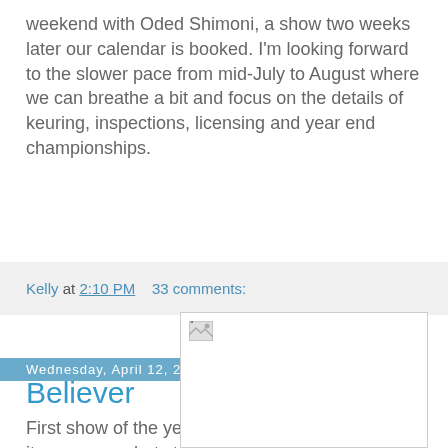weekend with Oded Shimoni, a show two weeks later our calendar is booked. I'm looking forward to the slower pace from mid-July to August where we can breathe a bit and focus on the details of keuring, inspections, licensing and year end championships.
Kelly at 2:10 PM    33 comments:
Wednesday, April 12, 2017
Believer
First show of the year is in the books for us, and it was somewhat strange to be back out again after a
[Figure (photo): Broken/unloaded image placeholder with small broken image icon in top-left corner]